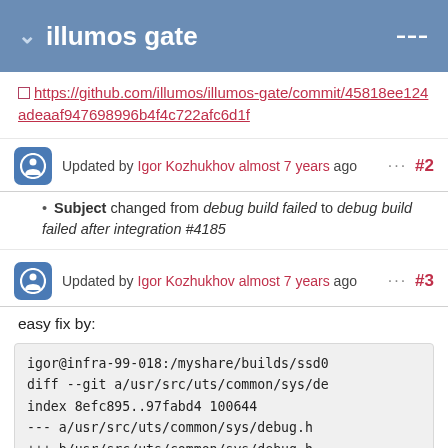illumos gate
https://github.com/illumos/illumos-gate/commit/45818ee124adeaaf947698996b4f4c722afc6d1f
Updated by Igor Kozhukhov almost 7 years ago  ··· #2
Subject changed from debug build failed to debug build failed after integration #4185
Updated by Igor Kozhukhov almost 7 years ago  ··· #3
easy fix by:
igor@infra-99-018:/myshare/builds/ssd0
diff --git a/usr/src/uts/common/sys/de
index 8efc895..97fabd4 100644
--- a/usr/src/uts/common/sys/debug.h
+++ b/usr/src/uts/common/sys/debug.h
@@ -131,7 +131,7 @@ _NOTE(CONSTCOND) ]
 #define      CTASSERT(c)